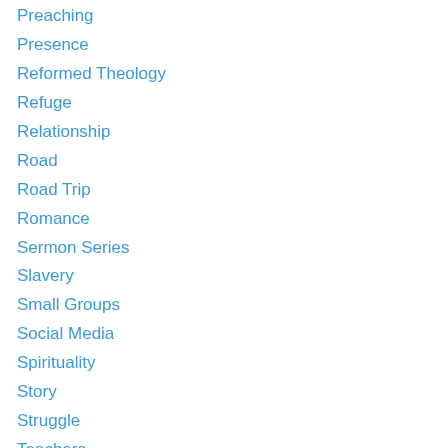Preaching
Presence
Reformed Theology
Refuge
Relationship
Road
Road Trip
Romance
Sermon Series
Slavery
Small Groups
Social Media
Spirituality
Story
Struggle
Teachers
Teaching
Transformation
Trials
Unwanted Advertising on WordPress